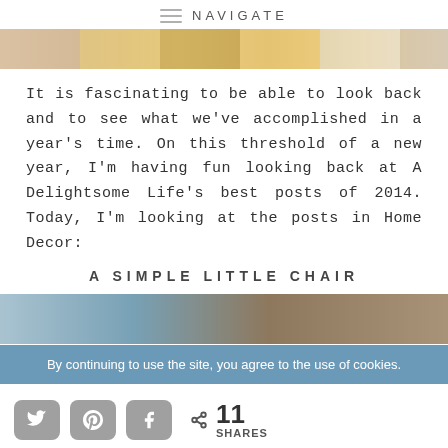NAVIGATE
[Figure (photo): Horizontal strip of collaged photos at top of blog page]
It is fascinating to be able to look back and to see what we've accomplished in a year's time. On this threshold of a new year, I'm having fun looking back at A Delightsome Life's best posts of 2014. Today, I'm looking at the posts in Home Decor:
A SIMPLE LITTLE CHAIR
[Figure (photo): Partial preview image of a chair post at bottom of page]
By continuing to use the site, you agree to the use of cookies.
11 SHARES